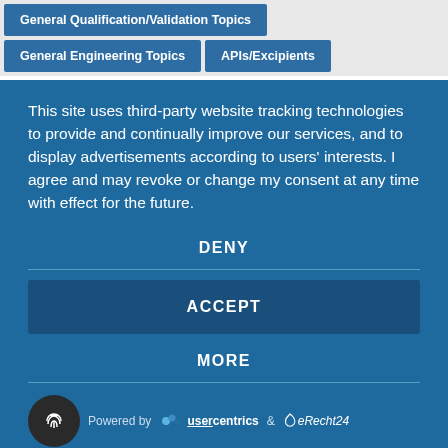General Qualification/Validation Topics
General Engineering Topics
APIs/Excipients
This site uses third-party website tracking technologies to provide and continually improve our services, and to display advertisements according to users' interests. I agree and may revoke or change my consent at any time with effect for the future.
DENY
ACCEPT
MORE
Powered by usercentrics & eRecht24